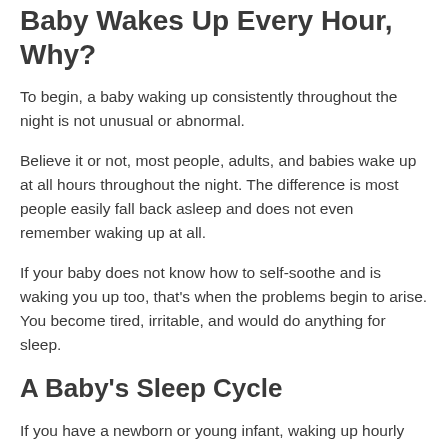Baby Wakes Up Every Hour, Why?
To begin, a baby waking up consistently throughout the night is not unusual or abnormal.
Believe it or not, most people, adults, and babies wake up at all hours throughout the night. The difference is most people easily fall back asleep and does not even remember waking up at all.
If your baby does not know how to self-soothe and is waking you up too, that's when the problems begin to arise. You become tired, irritable, and would do anything for sleep.
A Baby's Sleep Cycle
If you have a newborn or young infant, waking up hourly